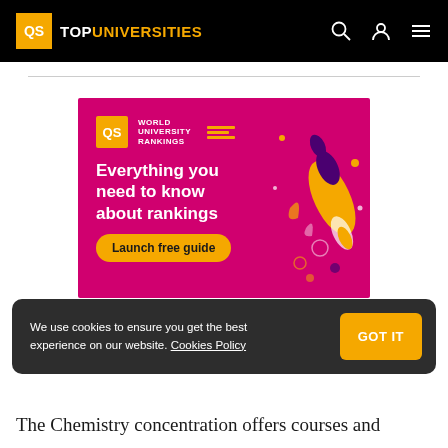QS TOP UNIVERSITIES
[Figure (illustration): QS World University Rankings promotional banner with magenta background, QS logo, text 'Everything you need to know about rankings', a 'Launch free guide' button, and a rocket/astronaut illustration on the right side.]
We use cookies to ensure you get the best experience on our website. Cookies Policy GOT IT
The Chemistry concentration offers courses and